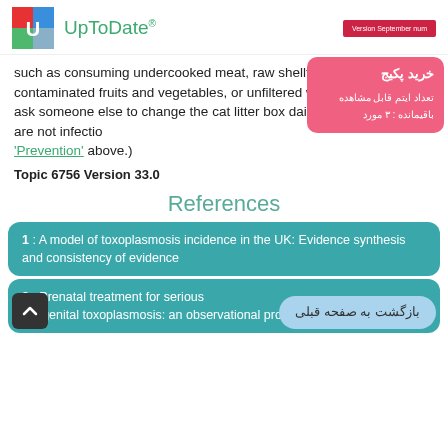UpToDate | Version September num
such as consuming undercooked meat, raw shellfish, possibly contaminated fruits and vegetables, or unfiltered water. It is prudent to ask someone else to change the cat litter box daily (fresh cat feces are not infectious). (See 'Prevention' above.)
Topic 6756 Version 33.0
References
1 : A model of toxoplasmosis incidence in the UK: Evidence synthesis and consistency of evidence
2 : Prenatal treatment for serious congenital toxoplasmosis: an observational prospective